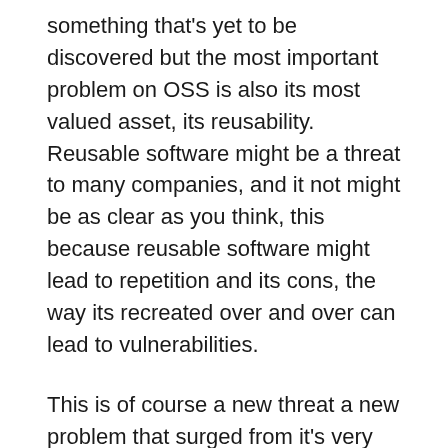something that's yet to be discovered but the most important problem on OSS is also its most valued asset, its reusability. Reusable software might be a threat to many companies, and it not might be as clear as you think, this because reusable software might lead to repetition and its cons, the way its recreated over and over can lead to vulnerabilities.
This is of course a new threat a new problem that surged from it's very own nature, from being shared from computer to computer, you might even say the code can be infected and infect many more people, this without people's knowledge, it can be sneaky and people might not even notice it at first sight, once you find it,